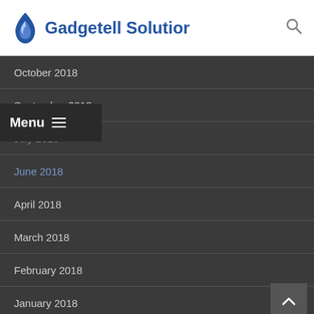Gadgetell Solution
October 2018
September 2018
July 2018
June 2018
April 2018
March 2018
February 2018
January 2018
December 2017
Categories